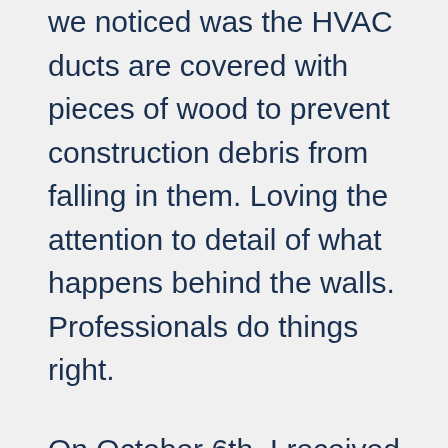we noticed was the HVAC ducts are covered with pieces of wood to prevent construction debris from falling in them. Loving the attention to detail of what happens behind the walls. Professionals do things right.
On October 6th, I received several phone calls from Kevin to verify cabinet details and choices before the order is finalized. I really appreciate that he didn't just guess and assume that it was right.
Remember the screened porch that